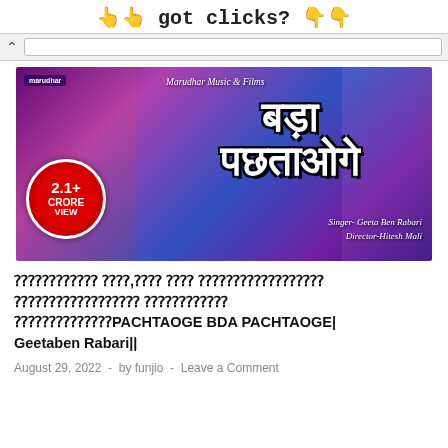got clicks?
[Figure (screenshot): YouTube video thumbnail for 'Bada Pachtaoge' by Marudhar Music and Films. Shows two women in traditional Rajasthani attire. Large Hindi text in center reads Bada Pachtaoge. Red badge on left shows 2.1+ Crore View. Text: Singer- Geeta Ben Rabari, Director-Hitesh Mali.]
?????? ??,?? ?? ????????? ????????? ?????? ???????PACHTAOGE BDA PACHTAOGE| Geetaben Rabari||
August 29, 2022  -  by funjio  -  Leave a Comment